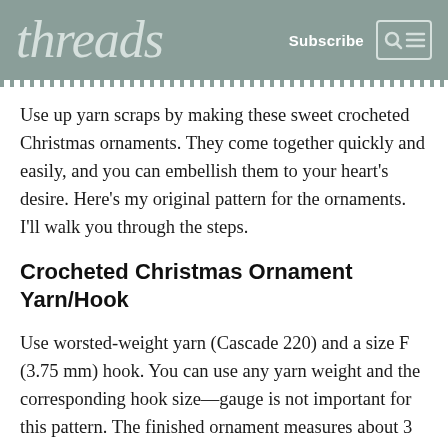threads — Subscribe
Use up yarn scraps by making these sweet crocheted Christmas ornaments. They come together quickly and easily, and you can embellish them to your heart's desire. Here's my original pattern for the ornaments. I'll walk you through the steps.
Crocheted Christmas Ornament Yarn/Hook
Use worsted-weight yarn (Cascade 220) and a size F (3.75 mm) hook. You can use any yarn weight and the corresponding hook size—gauge is not important for this pattern. The finished ornament measures about 3 inches long.